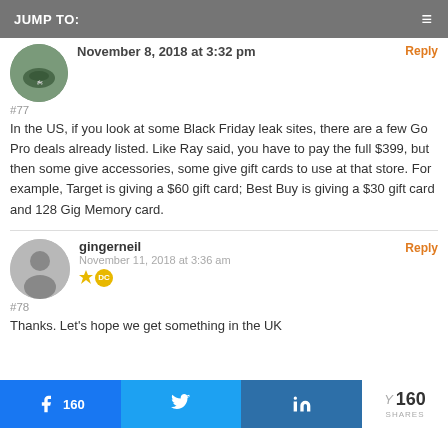JUMP TO:
November 8, 2018 at 3:32 pm
#77
In the US, if you look at some Black Friday leak sites, there are a few Go Pro deals already listed. Like Ray said, you have to pay the full $399, but then some give accessories, some give gift cards to use at that store. For example, Target is giving a $60 gift card; Best Buy is giving a $30 gift card and 128 Gig Memory card.
gingerneil
November 11, 2018 at 3:36 am
#78
Thanks. Let's hope we get something in the UK
160 SHARES